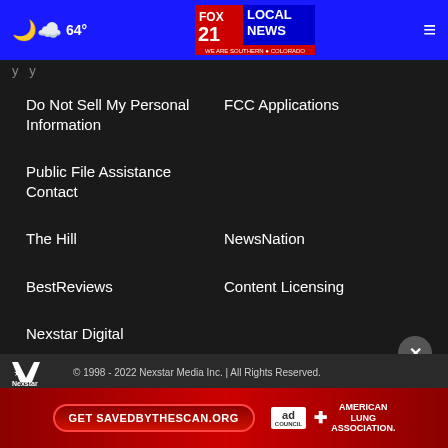64° Fox 21 Local News — We Are Southern Colorado
Do Not Sell My Personal Information
FCC Applications
Public File Assistance Contact
The Hill
NewsNation
BestReviews
Content Licensing
Nexstar Digital
© 1998 - 2022 Nexstar Media Inc. | All Rights Reserved.
[Figure (infographic): Ad banner: Get SAVEDBYTHESCAN.ORG — Ad Council and American Lung Association]